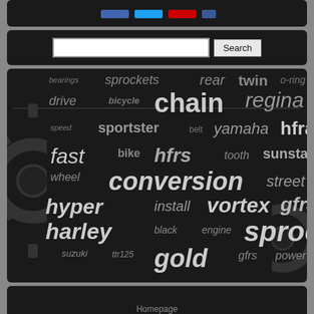[Figure (screenshot): Top dark bar with social media icons]
[Figure (screenshot): Search bar with text input and Search button on dark background]
[Figure (infographic): Word cloud on dark background with motorcycle/bicycle parts terms: bearings, sprockets, rear, twin, o-ring, drive, bicycle, chain, regina, speed, sportster, belt, yamaha, hfra, fast, bike, hfrs, tooth, sunstar, wheel, conversion, street, hyper, install, vortex, gfra, harley, black, engine, sprocket, suzuki, ttr125, gold, gfrs, power]
[Figure (screenshot): Bottom dark bar with Homepage link]